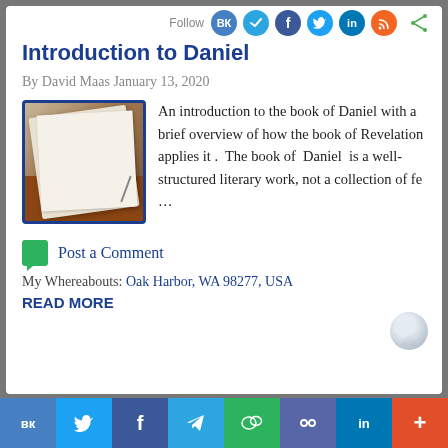Follow
Introduction to Daniel
By David Maas January 13, 2020
[Figure (photo): Photo of an open notebook/book lying on a brown wooden surface, with a blue border frame]
An introduction to the book of Daniel with a brief overview of how the book of Revelation applies it . The book of Daniel is a well-structured literary work, not a collection of fe …
Post a Comment
My Whereabouts: Oak Harbor, WA 98277, USA
READ MORE
вк  twitter  f  telegram  WeChat  paw  in  +